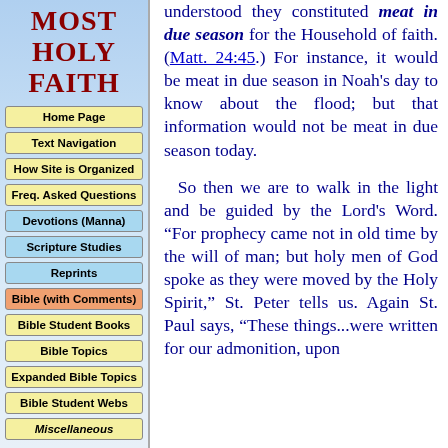MOST HOLY FAITH
Home Page
Text Navigation
How Site is Organized
Freq. Asked Questions
Devotions (Manna)
Scripture Studies
Reprints
Bible (with Comments)
Bible Student Books
Bible Topics
Expanded Bible Topics
Bible Student Webs
Miscellaneous
understood they constituted meat in due season for the Household of faith. (Matt. 24:45.) For instance, it would be meat in due season in Noah's day to know about the flood; but that information would not be meat in due season today.

So then we are to walk in the light and be guided by the Lord's Word. "For prophecy came not in old time by the will of man; but holy men of God spoke as they were moved by the Holy Spirit," St. Peter tells us. Again St. Paul says, "These things...were written for our admonition, upon